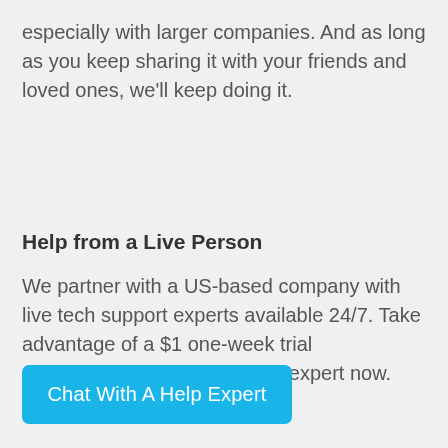especially with larger companies. And as long as you keep sharing it with your friends and loved ones, we'll keep doing it.
Help from a Live Person
We partner with a US-based company with live tech support experts available 24/7. Take advantage of a $1 one-week trial membership and chat with an expert now.
Chat With A Help Expert